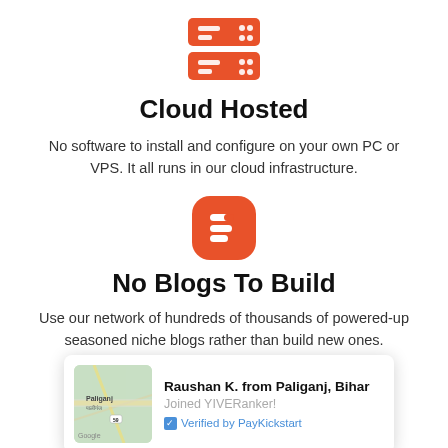[Figure (illustration): Orange server/cloud hosting icon with two rack server units stacked]
Cloud Hosted
No software to install and configure on your own PC or VPS. It all runs in our cloud infrastructure.
[Figure (logo): Orange Blogger logo icon — rounded square with stylized B]
No Blogs To Build
Use our network of hundreds of thousands of powered-up seasoned niche blogs rather than build new ones.
[Figure (infographic): Notification card: Raushan K. from Paliganj, Bihar — Joined YIVERanker! — Verified by PayKickstart, with Google Maps thumbnail]
Build More Backlinks
Push awesome DA/PA with Web 2.0 backlinks in your niche